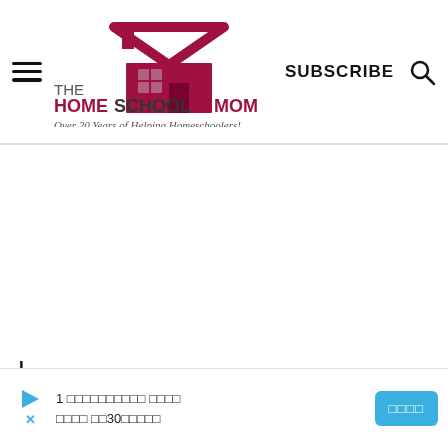THE HOMESCHOOL MOM — Over 20 Years of Helping Homeschoolers! | SUBSCRIBE
[Figure (logo): The Homeschool Mom logo with house icon and tagline 'Over 20 Years of Helping Homeschoolers!']
L
March 25, 2020 at 5:42 pm
Mos
1 □□□□□□□□□□ □□□□ □□□□ □□30□□□□□